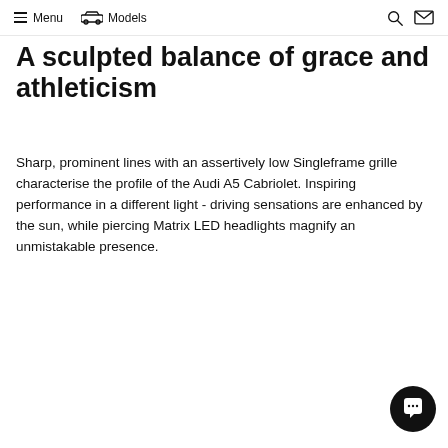Menu  Models
A sculpted balance of grace and athleticism
Sharp, prominent lines with an assertively low Singleframe grille characterise the profile of the Audi A5 Cabriolet. Inspiring performance in a different light - driving sensations are enhanced by the sun, while piercing Matrix LED headlights magnify an unmistakable presence.
[Figure (other): Chat/support button icon in bottom right corner]